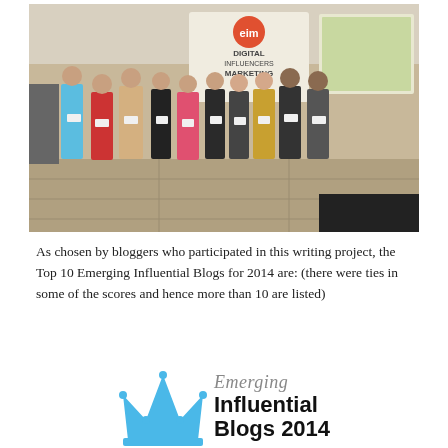[Figure (photo): Group of bloggers standing on a stage holding certificates at a Digital Influencers Marketing (DIM) event, with a presentation screen visible in the background.]
As chosen by bloggers who participated in this writing project, the Top 10 Emerging Influential Blogs for 2014 are: (there were ties in some of the scores and hence more than 10 are listed)
[Figure (logo): Emerging Influential Blogs 2014 logo with a blue crown icon on the left and the text 'Emerging Influential Blogs 2014' on the right.]